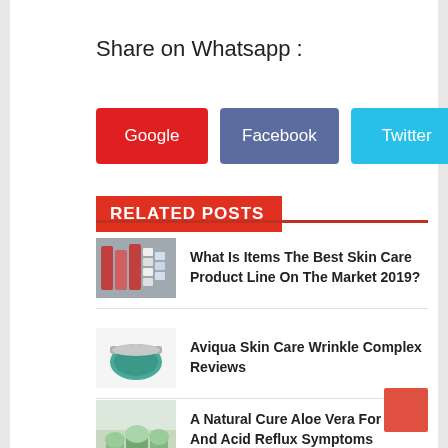Share on Whatsapp :
[Figure (infographic): Four share buttons: Google (red), Facebook (blue-grey), Twitter (cyan), More (orange)]
RELATED POSTS
[Figure (photo): Skin care products on shelves]
What Is Items The Best Skin Care Product Line On The Market 2019?
[Figure (photo): Aviqua skin care cream jar]
Aviqua Skin Care Wrinkle Complex Reviews
[Figure (photo): Aloe vera plant]
A Natural Cure Aloe Vera For Gerd And Acid Reflux Symptoms